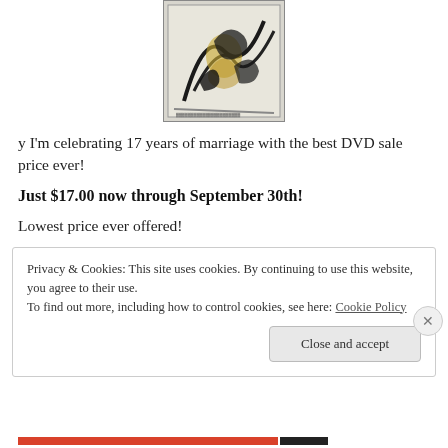[Figure (illustration): Product image showing an artistic illustration with dark abstract figures and golden/yellow accents on a light background, presented in a framed rectangular format]
y I'm celebrating 17 years of marriage with the best DVD sale price ever!
Just $17.00 now through September 30th!
Lowest price ever offered!
Privacy & Cookies: This site uses cookies. By continuing to use this website, you agree to their use.
To find out more, including how to control cookies, see here: Cookie Policy
[Close and accept]